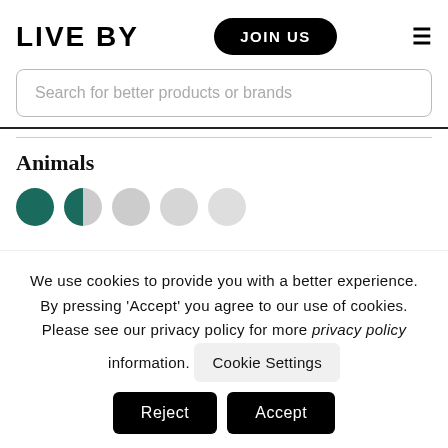LIVE BY   JOIN US   ≡
Search for better products or brands
Animals
[Figure (other): Five rating circles: two filled dark teal (one full, one half), three light grey]
We use cookies to provide you with a better experience. By pressing 'Accept' you agree to our use of cookies. Please see our privacy policy for more privacy policy information. Cookie Settings Reject Accept